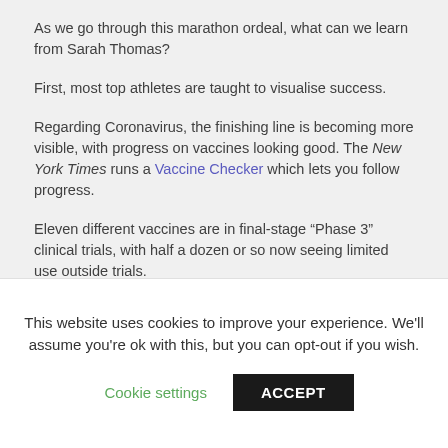As we go through this marathon ordeal, what can we learn from Sarah Thomas?
First, most top athletes are taught to visualise success.
Regarding Coronavirus, the finishing line is becoming more visible, with progress on vaccines looking good. The New York Times runs a Vaccine Checker which lets you follow progress.
Eleven different vaccines are in final-stage “Phase 3” clinical trials, with half a dozen or so now seeing limited use outside trials.
There were always reasons to be optimistic about a
This website uses cookies to improve your experience. We’ll assume you’re ok with this, but you can opt-out if you wish.
Cookie settings
ACCEPT